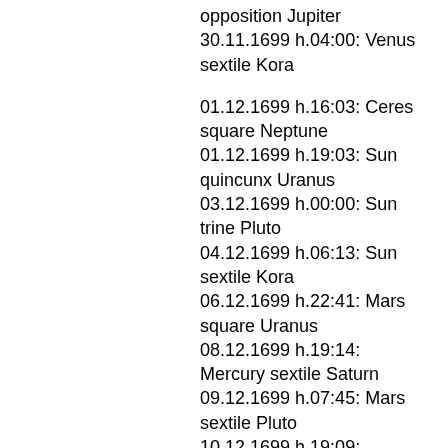opposition Jupiter
30.11.1699 h.04:00: Venus sextile Kora
01.12.1699 h.16:03: Ceres square Neptune
01.12.1699 h.19:03: Sun quincunx Uranus
03.12.1699 h.00:00: Sun trine Pluto
04.12.1699 h.06:13: Sun sextile Kora
06.12.1699 h.22:41: Mars square Uranus
08.12.1699 h.19:14: Mercury sextile Saturn
09.12.1699 h.07:45: Mars sextile Pluto
10.12.1699 h.19:09: Mercury ingres Capricorn
11.12.1699 h.07:02: Mercury opposition Ceres
11.12.1699 h.20:36: Venus sextile Saturn
11.12.1699 h.22:24: Mars conjunction Kora